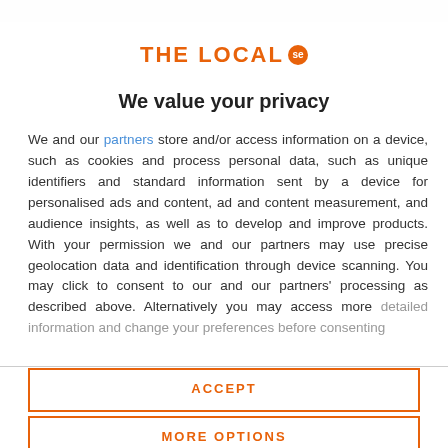[Figure (logo): The Local SE logo — orange text 'THE LOCAL' with orange circular badge containing 'se']
We value your privacy
We and our partners store and/or access information on a device, such as cookies and process personal data, such as unique identifiers and standard information sent by a device for personalised ads and content, ad and content measurement, and audience insights, as well as to develop and improve products. With your permission we and our partners may use precise geolocation data and identification through device scanning. You may click to consent to our and our partners' processing as described above. Alternatively you may access more detailed information and change your preferences before consenting
ACCEPT
MORE OPTIONS
become a beloved tradition in Sweden. The